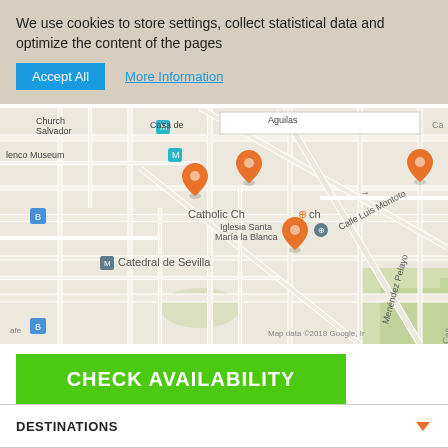We use cookies to store settings, collect statistical data and optimize the content of the pages
Accept All  More Information
[Figure (map): Google Map showing area around Catedral de Sevilla, Spain. Map shows streets and landmarks including Catholic Church (Iglesia Santa Maria la Blanca), Catedral de Sevilla, Flamenco Museum, Church Salvador, Casa de, Aguilas, Calle Luis Montoto, Menendez Pelayo. Several orange map pin markers visible. Map data ©2018 Google, Inc.]
CHECK AVAILABILITY
Book with Booking.com
Book by Phone
DESTINATIONS